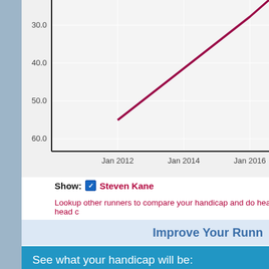[Figure (continuous-plot): Partial line chart showing a declining trend line (dark red/crimson) from upper right toward lower left. Y-axis shows values 30.0, 40.0, 50.0, 60.0 (inverted, larger values lower). X-axis shows Jan 2012, Jan 2014, Jan 2016. Background is light gray with white gridlines. Chart is cropped at top.]
Show: ✓ Steven Kane
Lookup other runners to compare your handicap and do head-to-head c...
Improve Your Runn...
See what your handicap will be:
Distance   5K ▼  or  [text input]